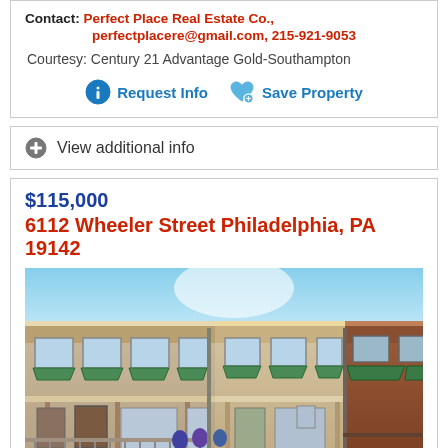Contact: Perfect Place Real Estate Co., perfectplacere@gmail.com, 215-921-9053
Courtesy: Century 21 Advantage Gold-Southampton
Request Info
Save Property
View additional info
$115,000
6112 Wheeler Street Philadelphia, PA 19142
[Figure (photo): Exterior photo of a row of brick and stucco townhouses with green awnings, front porches, and a clear blue sky]